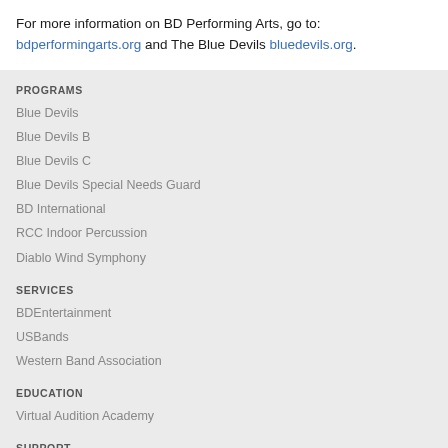For more information on BD Performing Arts, go to: bdperformingarts.org and The Blue Devils bluedevils.org.
PROGRAMS
Blue Devils
Blue Devils B
Blue Devils C
Blue Devils Special Needs Guard
BD International
RCC Indoor Percussion
Diablo Wind Symphony
SERVICES
BDEntertainment
USBands
Western Band Association
EDUCATION
Virtual Audition Academy
SUPPORT